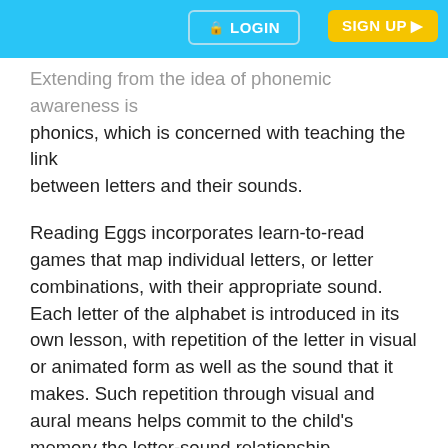LOGIN  SIGN UP
Extending from the idea of phonemic awareness is phonics, which is concerned with teaching the link between letters and their sounds.
Reading Eggs incorporates learn-to-read games that map individual letters, or letter combinations, with their appropriate sound. Each letter of the alphabet is introduced in its own lesson, with repetition of the letter in visual or animated form as well as the sound that it makes. Such repetition through visual and aural means helps commit to the child's memory the letter-sound relationship.
Fluency
When children read fluently, they are able to bridge the gap between word recognition and comprehension automatically. Fluent readers can therefore spend less time sounding out and decoding words and focus more on